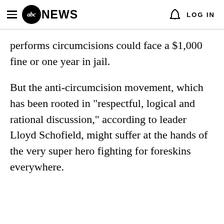abc NEWS   LOG IN
performs circumcisions could face a $1,000 fine or one year in jail.
But the anti-circumcision movement, which has been rooted in "respectful, logical and rational discussion," according to leader Lloyd Schofield, might suffer at the hands of the very super hero fighting for foreskins everywhere.